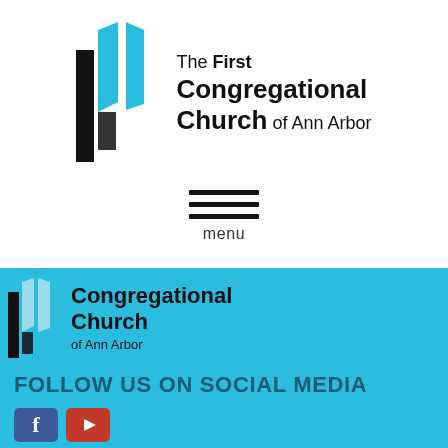[Figure (logo): The First Congregational Church of Ann Arbor logo: a stylized cross/window icon in blue and black, with text 'The First Congregational Church of Ann Arbor']
menu
[Figure (logo): Footer version of Congregational Church of Ann Arbor logo on cyan background]
FOLLOW US ON SOCIAL MEDIA
[Figure (illustration): Social media icons: Facebook (blue) and YouTube (red) on cyan background]